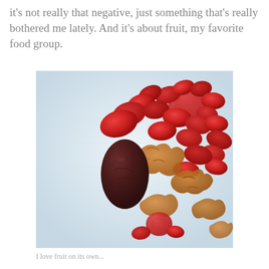it's not really that negative, just something that's really bothered me lately. And it's about fruit, my favorite food group.
[Figure (photo): A photo of mixed dried fruits including red dried strawberries, goji berries, a dark date, and dried apricot pieces arranged on a white cloth or paper surface.]
I love fruit on its own...